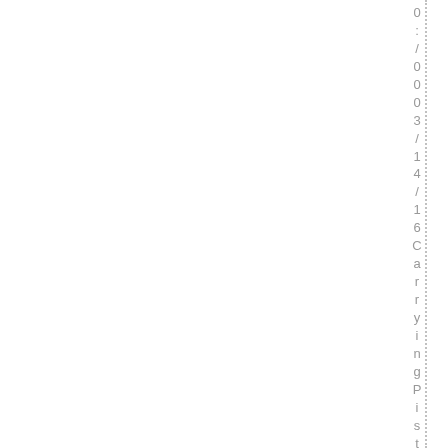0:/003/14/16CarryingPistol_W/OLicens